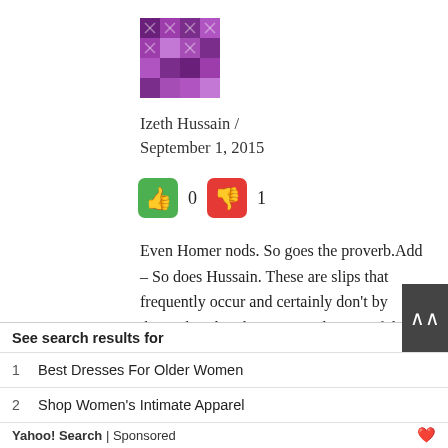[Figure (illustration): Purple mosaic/geometric avatar image]
Izeth Hussain /
September 1, 2015
[Figure (infographic): Green thumbs-up button showing 0 votes and red thumbs-down button showing 1 vote]
Even Homer nods. So goes the proverb.Add – So does Hussain. These are slips that frequently occur and certainly don't by themselves betoken any weakening of the mental faculties. But the racist Kettie prefers to believe that it does. Freud wrote a
See search results for
1   Best Dresses For Older Women
2   Shop Women's Intimate Apparel
Yahoo! Search | Sponsored